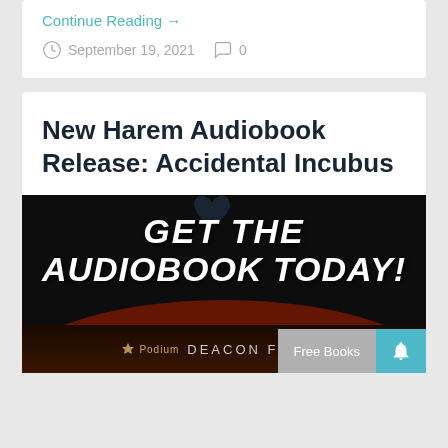Continue Reading →
September 19, 2021   0
New Harem Audiobook Release: Accidental Incubus
[Figure (illustration): Promotional audiobook banner with dark background showing bold white italic text 'GET THE AUDIOBOOK TODAY!' with Podium publisher logo and author name DEACON FROST at the bottom, with a Free Books button and bell notification button overlay in the lower right corner.]